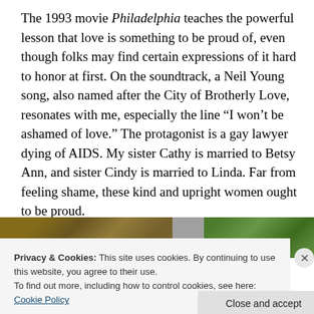The 1993 movie Philadelphia teaches the powerful lesson that love is something to be proud of, even though folks may find certain expressions of it hard to honor at first. On the soundtrack, a Neil Young song, also named after the City of Brotherly Love, resonates with me, especially the line “I won’t be ashamed of love.” The protagonist is a gay lawyer dying of AIDS. My sister Cathy is married to Betsy Ann, and sister Cindy is married to Linda. Far from feeling shame, these kind and upright women ought to be proud.
[Figure (photo): Partial outdoor photo showing a wooden lattice/pergola structure on the left and green foliage/garden on the right, partially obscured by cookie consent banner.]
Privacy & Cookies: This site uses cookies. By continuing to use this website, you agree to their use.
To find out more, including how to control cookies, see here: Cookie Policy
Close and accept